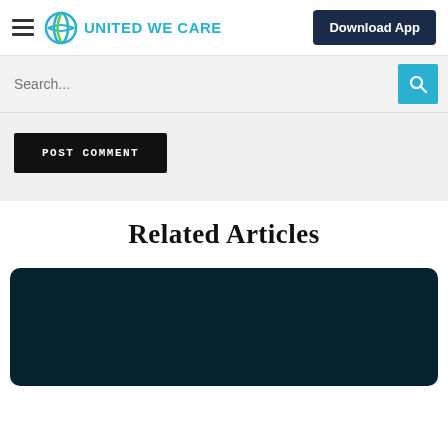United We Care — Download App
Search...
POST COMMENT
Related Articles
[Figure (other): Dark teal article card background]